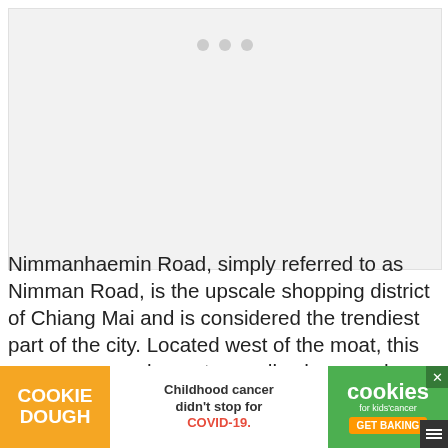[Figure (photo): Placeholder image area with three gray dots indicating an unloaded image]
Nimmanhaemin Road, simply referred to as Nimman Road, is the upscale shopping district of Chiang Mai and is considered the trendiest part of the city. Located west of the moat, this area was once home to noodle shops and modest abodes, but today, the streets here are lined with trendy boutiques, art galleries, gourmet restaurants, and chic coffee shops in...
[Figure (infographic): Advertisement banner: Cookie Dough - Childhood cancer didn't stop for COVID-19. GET BAKING. cookies for kids cancer logo with close button.]